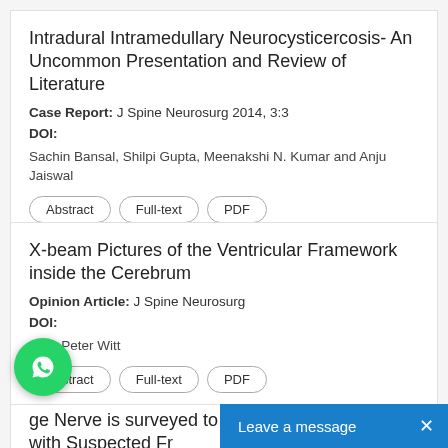Intradural Intramedullary Neurocysticercosis- An Uncommon Presentation and Review of Literature
Case Report: J Spine Neurosurg 2014, 3:3
DOI:
Sachin Bansal, Shilpi Gupta, Meenakshi N. Kumar and Anju Jaiswal
Abstract
Full-text
PDF
X-beam Pictures of the Ventricular Framework inside the Cerebrum
Opinion Article: J Spine Neurosurg
DOI:
Jens Peter Witt
Abstract
Full-text
PDF
ge Nerve is surveyed to Assist Stir up Patients with Suspected Fr